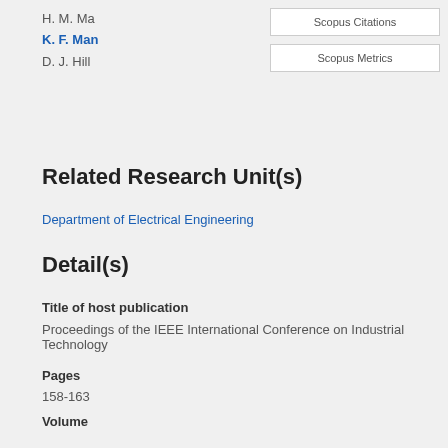H. M. Ma
K. F. Man
D. J. Hill
Scopus Citations
Scopus Metrics
Related Research Unit(s)
Department of Electrical Engineering
Detail(s)
Title of host publication
Proceedings of the IEEE International Conference on Industrial Technology
Pages
158-163
Volume
2005
Publication status
Published - 2005